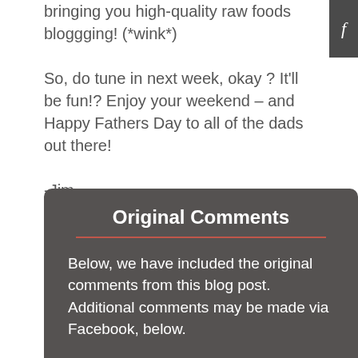bringing you high-quality raw foods bloggging! (*wink*)
So, do tune in next week, okay ? It'll be fun!? Enjoy your weekend – and Happy Fathers Day to all of the dads out there!
-Jim
ps? As we're preparing to cover raw summertime outings, is there any topic you'd like us to cover? Or, do you have any specific questions about "summertime raw" ? If so, let us know in the comments (or drop us an email) and we'll try to address them next week!
Original Comments
Below, we have included the original comments from this blog post. Additional comments may be made via Facebook, below.